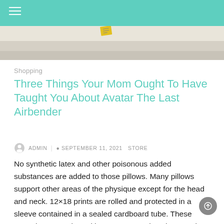[Figure (photo): Partial view of a light-colored fabric or paper surface with a small yellow tag/label, cropped at top]
Shopping
Three Things Your Mom Ought To Have Taught You About Avatar The Last Airbender
ADMIN  SEPTEMBER 11, 2021  STORE
No synthetic latex and other poisonous added substances are added to those pillows. Many pillows support other areas of the physique except for the head and neck. 12×18 prints are rolled and protected in a sleeve contained in a sealed cardboard tube. These artworks are packaged into 12" x 16" prints that may be removed [...]